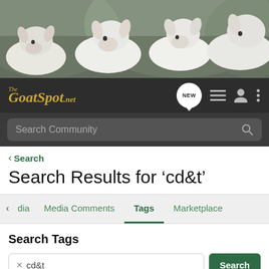[Figure (photo): Photograph of white goats/kids looking forward, taken at a farm]
[Figure (screenshot): Navigation bar with The GoatSpot.net logo in gold italic text, NEW chat bubble icon, list icon, user icon, and vertical dots menu icon on dark background]
[Figure (screenshot): Search bar with 'Search Community' placeholder text on dark gray background]
< Search
Search Results for ‘cd&t’
< dia  Media Comments  Tags  Marketplace
Search Tags
x cd&t   Search